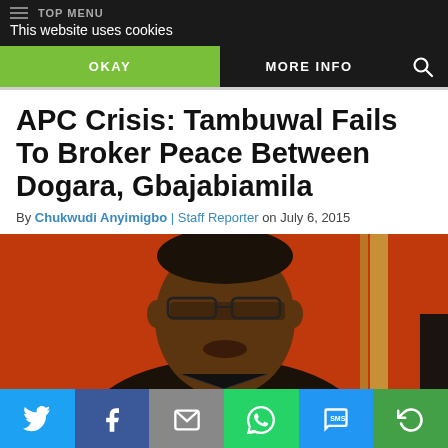TOP MENU | This website uses cookies
OKAY
MORE INFO
APC Crisis: Tambuwal Fails To Broker Peace Between Dogara, Gbajabiamila
By Chukwudi Anyimigbo | Staff Reporter on July 6, 2015
[Figure (photo): Close-up photo of a man with glasses against an orange/red background with a gold-framed element visible]
Social share bar: Twitter, Facebook, Email, WhatsApp, SMS, Share